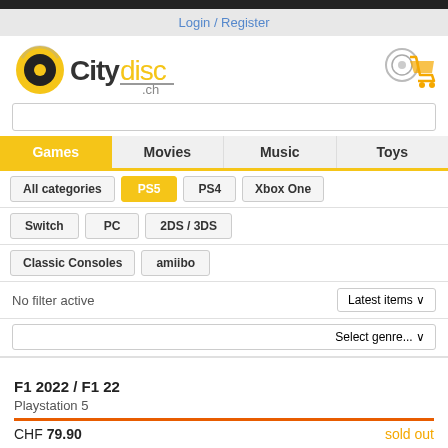Login / Register
[Figure (logo): Citydisc.ch logo with circular disc graphic and shopping cart icon]
Search bar input field
Games | Movies | Music | Toys
All categories | PS5 | PS4 | Xbox One
Switch | PC | 2DS / 3DS
Classic Consoles | amiibo
No filter active
Latest items
Select genre...
F1 2022 / F1 22
Playstation 5
CHF 79.90   sold out